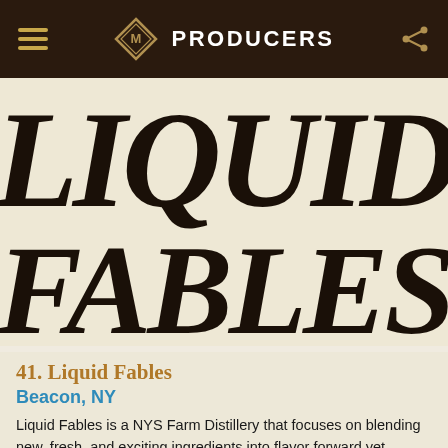PRODUCERS
[Figure (logo): Liquid Fables stylized logo text showing 'LIQUID' and 'FABLES' in large decorative black serif lettering on cream/beige background]
41. Liquid Fables
Beacon, NY
Liquid Fables is a NYS Farm Distillery that focuses on blending new, fresh, and exciting ingredients into flavor forward yet approachable cocktails. Our goal is to reimagine little "liquid adventures"...